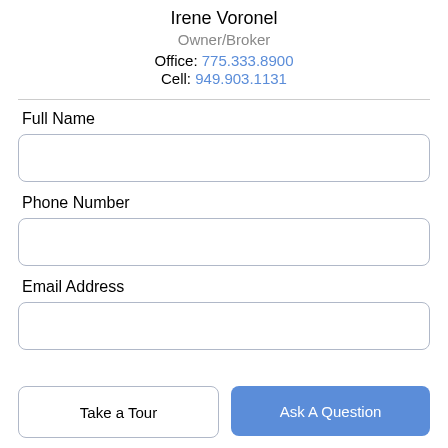Irene Voronel
Owner/Broker
Office: 775.333.8900
Cell: 949.903.1131
Full Name
Phone Number
Email Address
Take a Tour
Ask A Question